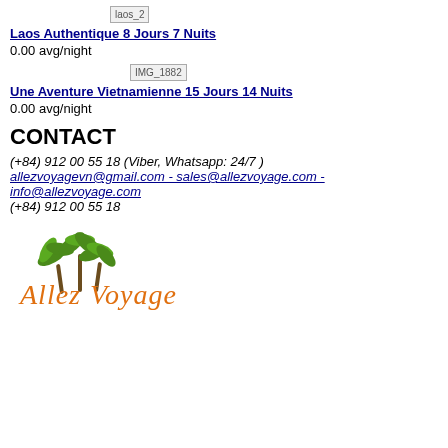[Figure (photo): Small thumbnail image labeled laos_2]
Laos Authentique 8 Jours 7 Nuits
0.00 avg/night
[Figure (photo): Image thumbnail labeled IMG_1882]
Une Aventure Vietnamienne 15 Jours 14 Nuits
0.00 avg/night
CONTACT
(+84) 912 00 55 18 (Viber, Whatsapp: 24/7 )
allezvoyagevn@gmail.com - sales@allezvoyage.com - info@allezvoyage.com
(+84) 912 00 55 18
[Figure (logo): Allez Voyage company logo with palm trees and orange cursive text]